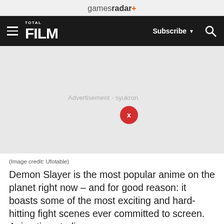gamesradar+
≡ TOTAL FILM  Subscribe ▼ 🔍
[Figure (other): Advertisement placeholder with close button labeled X. Text reads: Advertisement - syukron]
(Image credit: Ufotable)
Demon Slayer is the most popular anime on the planet right now – and for good reason: it boasts some of the most exciting and hard-hitting fight scenes ever committed to screen. Animation studio